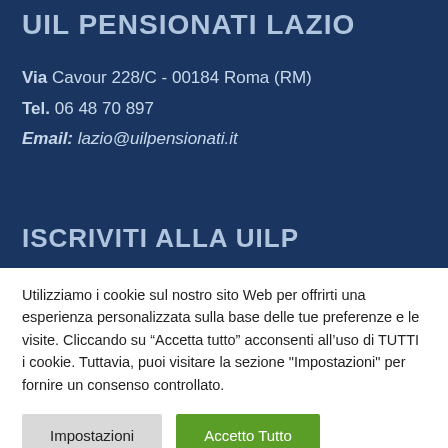UIL PENSIONATI LAZIO
Via Cavour 228/C - 00184 Roma (RM)
Tel. 06 48 70 897
Email: lazio@uilpensionati.it
ISCRIVITI ALLA UILP
Utilizziamo i cookie sul nostro sito Web per offrirti una esperienza personalizzata sulla base delle tue preferenze e le visite. Cliccando su “Accetta tutto” acconsenti all’uso di TUTTI i cookie. Tuttavia, puoi visitare la sezione "Impostazioni" per fornire un consenso controllato.
Impostazioni
Accetto Tutto